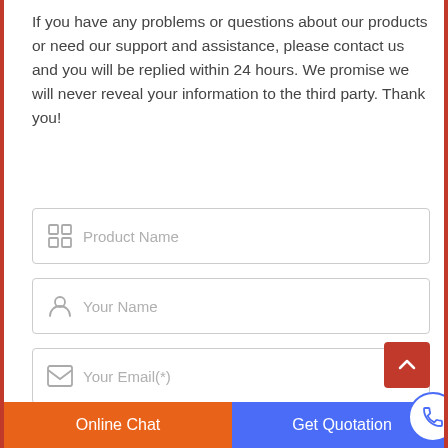If you have any problems or questions about our products or need our support and assistance, please contact us and you will be replied within 24 hours. We promise we will never reveal your information to the third party. Thank you!
Product Name
Your Name
Your Email(*)
Your Phone or Whatsapp
Online Chat
Get Quotation